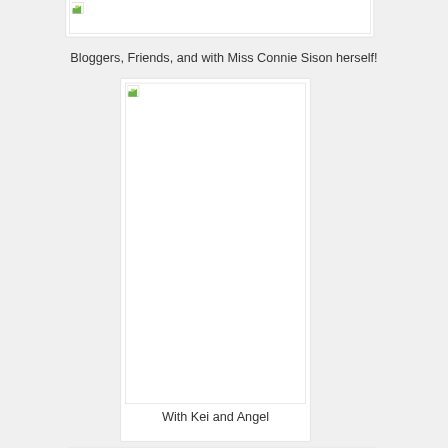[Figure (photo): Partially visible photo placeholder at the top of the page (image broken/not loaded), inside a white card with border]
Bloggers, Friends, and with Miss Connie Sison herself!
[Figure (photo): Tall portrait-oriented photo placeholder (image broken/not loaded) inside a white card with border]
With Kei and Angel
[Figure (photo): Partially visible photo placeholder at the bottom of the page (image broken/not loaded), inside a white card with border]